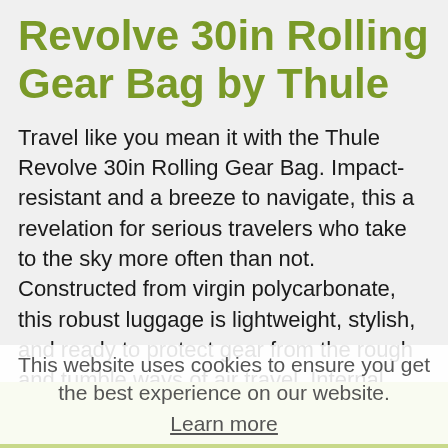Revolve 30in Rolling Gear Bag by Thule
Travel like you mean it with the Thule Revolve 30in Rolling Gear Bag. Impact-resistant and a breeze to navigate, this a revelation for serious travelers who take to the sky more often than not. Constructed from virgin polycarbonate, this robust luggage is lightweight, stylish, and ready to protect gear from the rough and tumble ways of air travel. Internal corner protectors, a rigid frame, and a reinforcing front panel add even more protection, while the adjustable internal compression system keeps everything locked firmly in place. Smooth-rolling wheels glide over rough terrain easily on your way from doorstep to destination, as well as offer 360-degrees of free-moving mobility to help turn on a dime, while the integrated feet let the